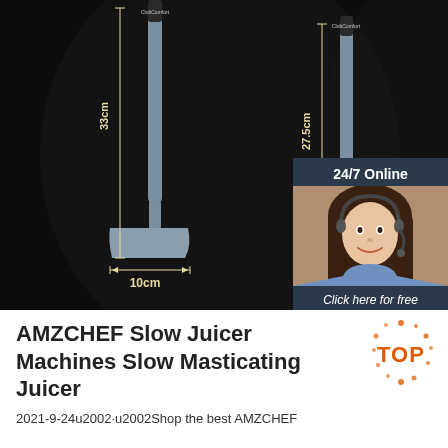[Figure (photo): Product photo showing three grey silicone kitchen utensils (spatula, ladle, and spoon) on a dark background with dimension measurements: 33cm and 10cm for the spatula, 27.5cm and 8.6cm for the ladle, and 32.5cm for the spoon. An overlay chat box shows '24/7 Online' with a customer service photo and 'Click here for free chat! QUOTATION' button.]
AMZCHEF Slow Juicer Machines Slow Masticating Juicer
2021-9-24u2002·u2002Shop the best AMZCHEF